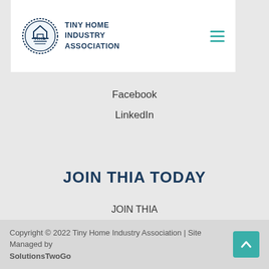[Figure (logo): Tiny Home Industry Association logo with circular badge containing house icon and THIA text, hamburger menu icon in teal]
Facebook
LinkedIn
JOIN THIA TODAY
JOIN THIA
Privacy Policy
Statement of Non-Endorsement
Terms and Conditions
Copyright © 2022 Tiny Home Industry Association | Site Managed by SolutionsTwoGo